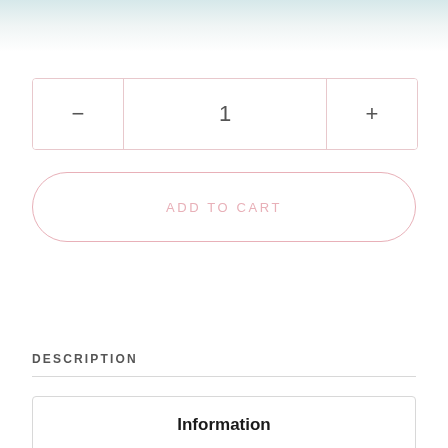[Figure (screenshot): Top decorative gradient bar with teal/light blue to white gradient]
— 1 +
ADD TO CART
DESCRIPTION
Information